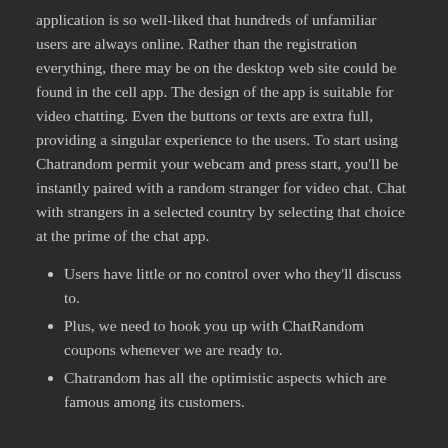application is so well-liked that hundreds of unfamiliar users are always online. Rather than the registration everything, there may be on the desktop web site could be found in the cell app. The design of the app is suitable for video chatting. Even the buttons or texts are extra full, providing a singular experience to the users. To start using Chatrandom permit your webcam and press start, you'll be instantly paired with a random stranger for video chat. Chat with strangers in a selected country by selecting that choice at the prime of the chat app.
Users have little or no control over who they'll discuss to.
Plus, we need to hook you up with ChatRandom coupons whenever we are ready to.
Chatrandom has all the optimistic aspects which are famous among its customers.